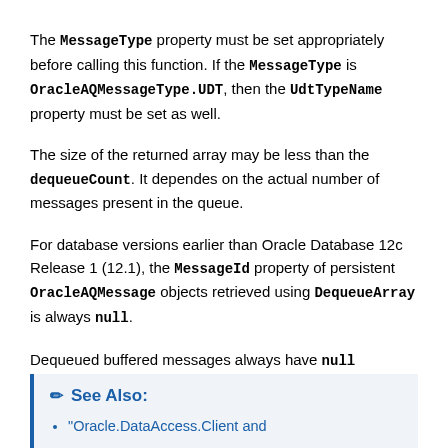The MessageType property must be set appropriately before calling this function. If the MessageType is OracleAQMessageType.UDT, then the UdtTypeName property must be set as well.
The size of the returned array may be less than the dequeueCount. It dependes on the actual number of messages present in the queue.
For database versions earlier than Oracle Database 12c Release 1 (12.1), the MessageId property of persistent OracleAQMessage objects retrieved using DequeueArray is always null.
Dequeued buffered messages always have null MessageId values irrespective of the database version.
See Also:
"Oracle.DataAccess.Client and